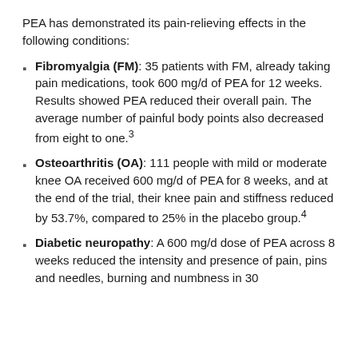PEA has demonstrated its pain-relieving effects in the following conditions:
Fibromyalgia (FM): 35 patients with FM, already taking pain medications, took 600 mg/d of PEA for 12 weeks. Results showed PEA reduced their overall pain. The average number of painful body points also decreased from eight to one.³
Osteoarthritis (OA): 111 people with mild or moderate knee OA received 600 mg/d of PEA for 8 weeks, and at the end of the trial, their knee pain and stiffness reduced by 53.7%, compared to 25% in the placebo group.⁴
Diabetic neuropathy: A 600 mg/d dose of PEA across 8 weeks reduced the intensity and presence of pain, pins and needles, burning and numbness in 30...